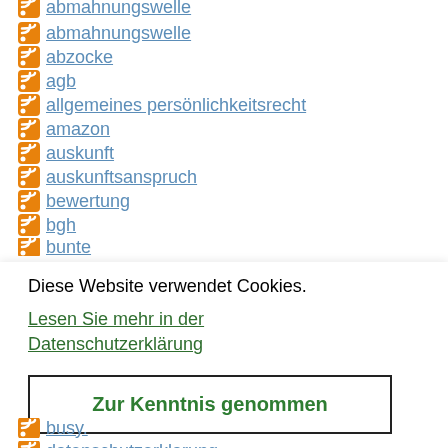abmahnungswelle
abzocke
agb
allgemeines persönlichkeitsrecht
amazon
auskunft
auskunftsanspruch
bewertung
bgh
bunte (clipped)
Diese Website verwendet Cookies.
Lesen Sie mehr in der Datenschutzerklärung
Zur Kenntnis genommen
busy (clipped)
datenschutzerklarung (clipped)